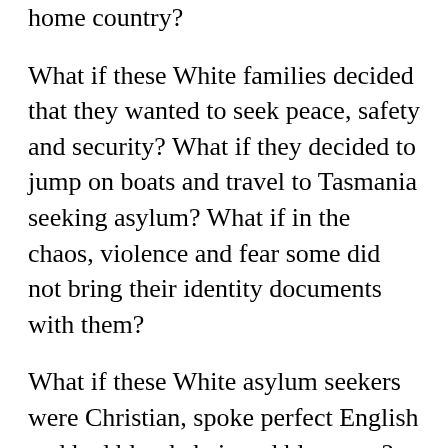home country?
What if these White families decided that they wanted to seek peace, safety and security? What if they decided to jump on boats and travel to Tasmania seeking asylum? What if in the chaos, violence and fear some did not bring their identity documents with them?
What if these White asylum seekers were Christian, spoke perfect English and had blonde hair and blue eyes?
Would these White, Christian asylum seekers be accused of being economic migrants, criminals, illegals or queue-jumpers?